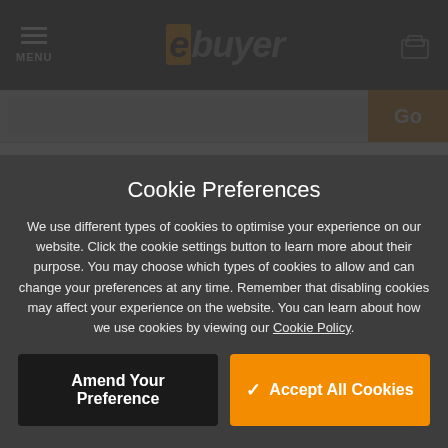MENU | ebuyer
[Figure (screenshot): ebuyer website header with navigation bar, search bar, and PayPal Learn More section visible behind cookie overlay]
Cookie Preferences
We use different types of cookies to optimise your experience on our website. Click the cookie settings button to learn more about their purpose. You may choose which types of cookies to allow and can change your preferences at any time. Remember that disabling cookies may affect your experience on the website. You can learn about how we use cookies by viewing our Cookie Policy.
Amend Your Preference
✓ Accept All Cookies